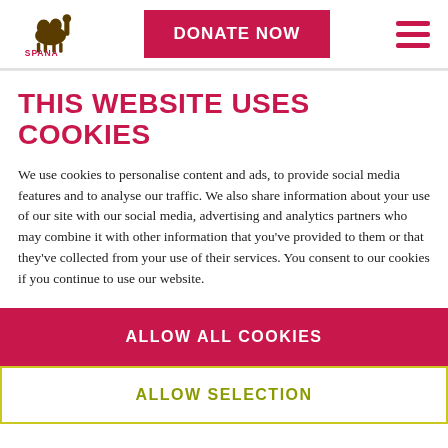SPANA logo | DONATE NOW | hamburger menu
THIS WEBSITE USES COOKIES
We use cookies to personalise content and ads, to provide social media features and to analyse our traffic. We also share information about your use of our site with our social media, advertising and analytics partners who may combine it with other information that you've provided to them or that they've collected from your use of their services. You consent to our cookies if you continue to use our website.
ALLOW ALL COOKIES
ALLOW SELECTION